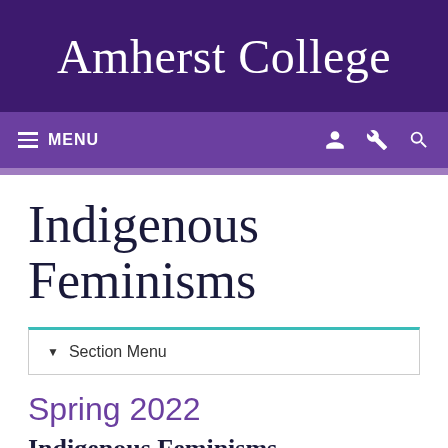Amherst College
Indigenous Feminisms
Section Menu
Spring 2022
Indigenous Feminisms